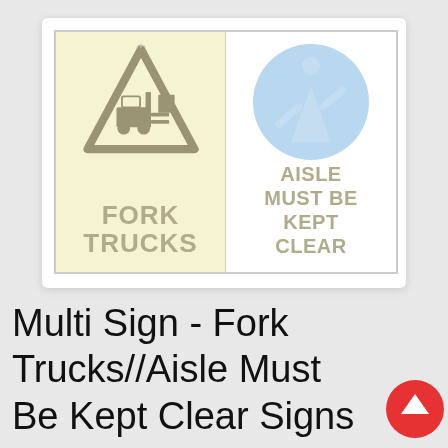[Figure (photo): A product image showing a multi-panel safety sign. Left panel has a yellow background with a fork truck warning triangle icon and the text 'FORK TRUCKS'. Right panel has a white background with a blue circular mandatory sign icon and the text 'AISLE MUST BE KEPT CLEAR'.]
Multi Sign - Fork Trucks//Aisle Must Be Kept Clear Signs